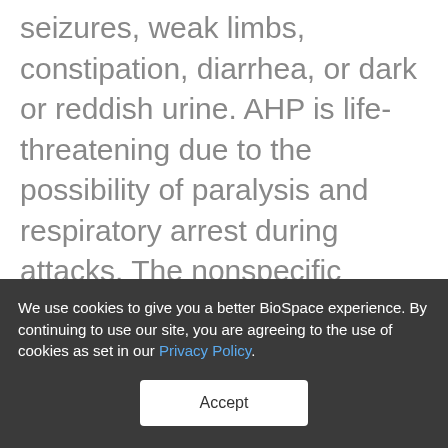seizures, weak limbs, constipation, diarrhea, or dark or reddish urine. AHP is life-threatening due to the possibility of paralysis and respiratory arrest during attacks. The nonspecific nature of AHP signs and symptoms can often lead to misdiagnoses of other more common conditions such as gynecological disorders, viral gastroenteritis, irritable bowel syndrome (IBS), and appendicitis. Consequently, on a global perspective, patients with AHP can wait up to 15
We use cookies to give you a better BioSpace experience. By continuing to use our site, you are agreeing to the use of cookies as set in our Privacy Policy.
Accept